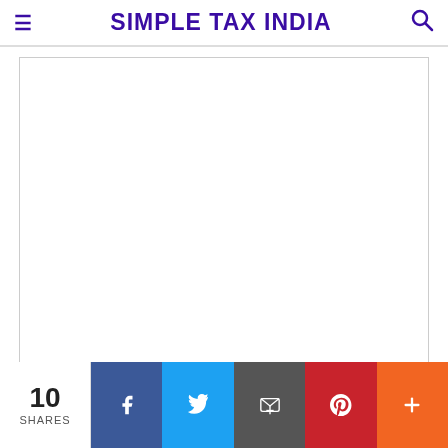SIMPLE TAX INDIA
[Figure (other): Advertisement placeholder box, white rectangle with border]
Open Free Demat Account : 5Paisa
Pay 699 and Get Benefits >Rs 20000
10 SHARES — Social share bar with Facebook, Twitter, Email, Pinterest, More buttons